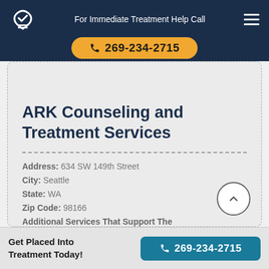For Immediate Treatment Help Call 269-234-2715
ARK Counseling and Treatment Services
Address: 634 SW 149th Street
City: Seattle
State: WA
Zip Code: 98166
Additional Services That Support The Treatment Process: Substance abuse education
Get Placed Into Treatment Today!
269-234-2715